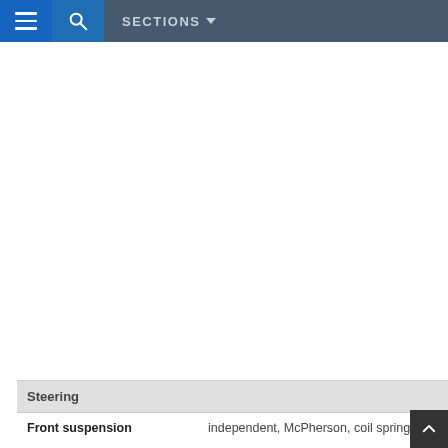SECTIONS
| Steering |  |
| --- | --- |
| Front suspension | independent, McPherson, coil springs |